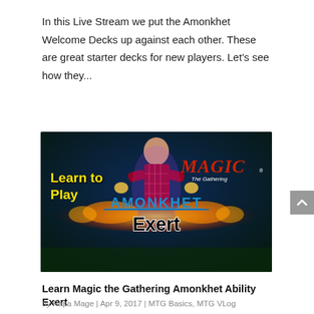In this Live Stream we put the Amonkhet Welcome Decks up against each other. These are great starter decks for new players. Let's see how they...
[Figure (screenshot): Thumbnail image for a Magic the Gathering Amonkhet Exert tutorial video. Shows a young person with fire effects, text: 'Learn to Play', 'MAGIC The Gathering', 'AMONKHET', 'Exert'.]
Learn Magic the Gathering Amonkhet Ability Exert
by Papa Mage | Apr 9, 2017 | MTG Basics, MTG VLog